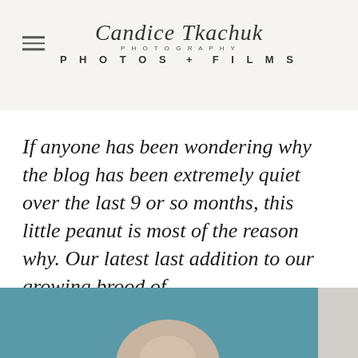Candice Tkachuk Photography | PHOTOS + FILMS
If anyone has been wondering why the blog has been extremely quiet over the last 9 or so months, this little peanut is most of the reason why. Our latest last addition to our growing brood of
OPEN POST
[Figure (photo): Partial view of a baby/child photo with teal background, bottom of the page]